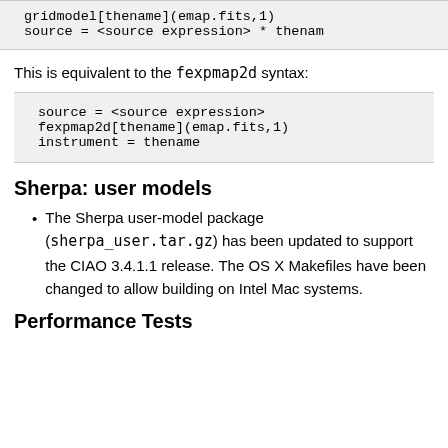gridmodel[thename](emap.fits,1)
source = <source expression> * thename
This is equivalent to the fexpmap2d syntax:
source = <source expression>
fexpmap2d[thename](emap.fits,1)
instrument = thename
Sherpa: user models
The Sherpa user-model package (sherpa_user.tar.gz) has been updated to support the CIAO 3.4.1.1 release. The OS X Makefiles have been changed to allow building on Intel Mac systems.
Performance Tests